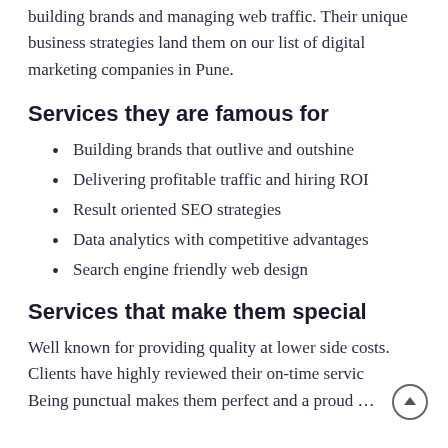building brands and managing web traffic. Their unique business strategies land them on our list of digital marketing companies in Pune.
Services they are famous for
Building brands that outlive and outshine
Delivering profitable traffic and hiring ROI
Result oriented SEO strategies
Data analytics with competitive advantages
Search engine friendly web design
Services that make them special
Well known for providing quality at lower side costs. Clients have highly reviewed their on-time servic Being punctual makes them perfect and a proud …